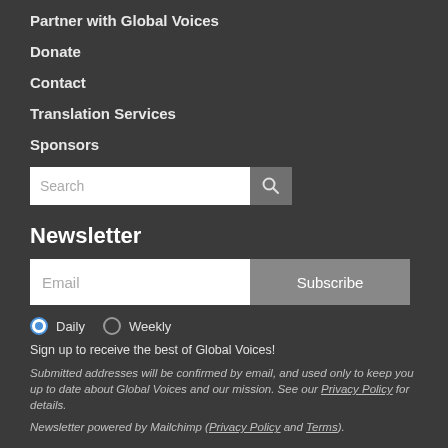Partner with Global Voices
Donate
Contact
Translation Services
Sponsors
Newsletter
Daily  Weekly
Sign up to receive the best of Global Voices!
Submitted addresses will be confirmed by email, and used only to keep you up to date about Global Voices and our mission. See our Privacy Policy for details.
Newsletter powered by Mailchimp (Privacy Policy and Terms).